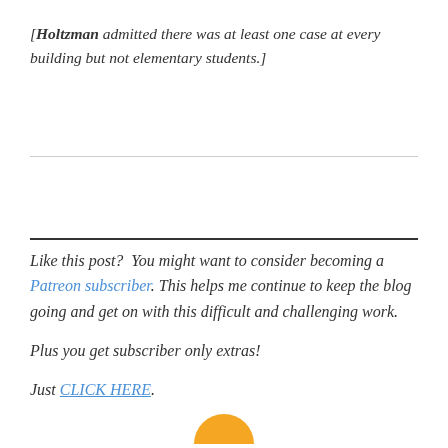[Holtzman admitted there was at least one case at every building but not elementary students.]
Like this post?  You might want to consider becoming a Patreon subscriber. This helps me continue to keep the blog going and get on with this difficult and challenging work.

Plus you get subscriber only extras!

Just CLICK HERE.